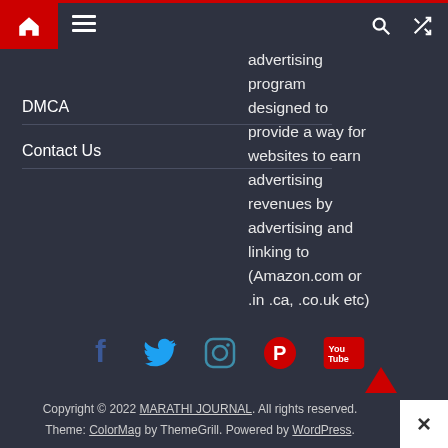Navigation bar with home icon, menu icon, search icon, and shuffle icon
DMCA
Contact Us
advertising program designed to provide a way for websites to earn advertising revenues by advertising and linking to (Amazon.com or .in .ca, .co.uk etc)
[Figure (other): Social media icons row: Facebook, Twitter, Instagram, Pinterest, YouTube]
Copyright © 2022 MARATHI JOURNAL. All rights reserved. Theme: ColorMag by ThemeGrill. Powered by WordPress.